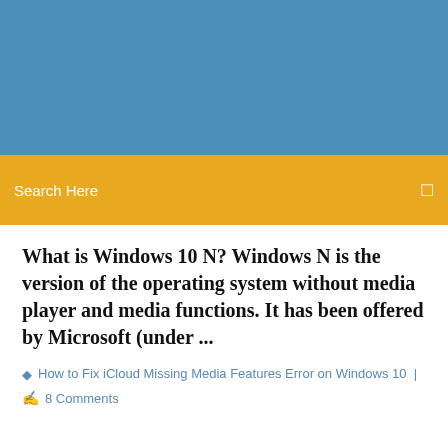[Figure (photo): Blue header/hero image background]
Search Here
What is Windows 10 N? Windows N is the version of the operating system without media player and media functions. It has been offered by Microsoft (under ...
How to Fix iCloud Missing Media Features Error on Windows 10  |
8 Comments